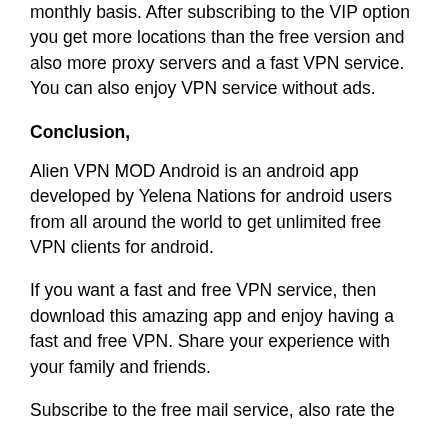monthly basis. After subscribing to the VIP option you get more locations than the free version and also more proxy servers and a fast VPN service. You can also enjoy VPN service without ads.
Conclusion,
Alien VPN MOD Android is an android app developed by Yelena Nations for android users from all around the world to get unlimited free VPN clients for android.
If you want a fast and free VPN service, then download this amazing app and enjoy having a fast and free VPN. Share your experience with your family and friends.
Subscribe to the free mail service, also rate the article and subscribe to the notifications...